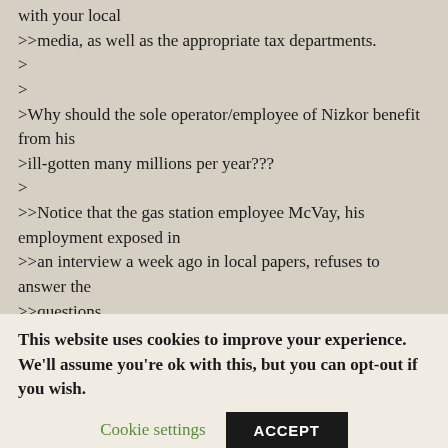with your local
>>media, as well as the appropriate tax departments.
>
>
>Why should the sole operator/employee of Nizkor benefit from his
>ill-gotten many millions per year???
>
>>Notice that the gas station employee McVay, his employment exposed in
>>an interview a week ago in local papers, refuses to answer the
>>questions.
This website uses cookies to improve your experience. We'll assume you're ok with this, but you can opt-out if you wish.
Cookie settings   ACCEPT